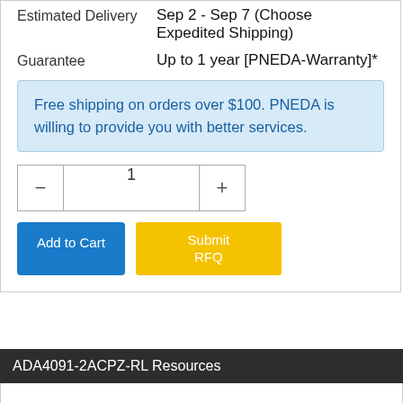| Estimated Delivery | Sep 2 - Sep 7 (Choose Expedited Shipping) |
| Guarantee | Up to 1 year [PNEDA-Warranty]* |
Free shipping on orders over $100. PNEDA is willing to provide you with better services.
[Figure (screenshot): Quantity selector with minus button, input field showing 1, and plus button]
[Figure (screenshot): Add to Cart blue button and Submit RFQ yellow button]
ADA4091-2ACPZ-RL Resources
| Brand | Analog Devices |
| ECAD Module | PCB Symbol, Footprint & 3D Model |